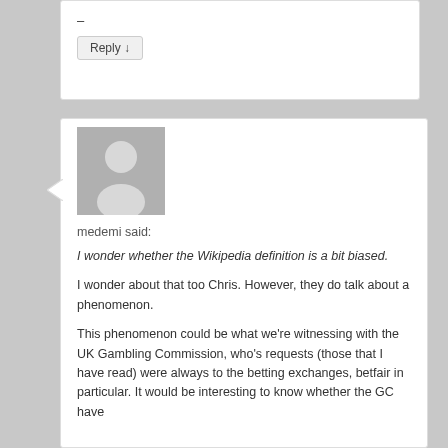–
Reply ↓
[Figure (illustration): Avatar placeholder image showing a generic person silhouette in gray]
medemi said:
I wonder whether the Wikipedia definition is a bit biased.
I wonder about that too Chris. However, they do talk about a phenomenon.
This phenomenon could be what we're witnessing with the UK Gambling Commission, who's requests (those that I have read) were always to the betting exchanges, betfair in particular. It would be interesting to know whether the GC have